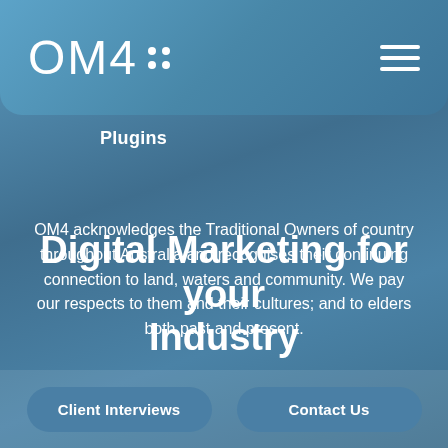OM4 :: [hamburger menu]
Plugins
OM4 acknowledges the Traditional Owners of country throughout Australia and recognises their continuing connection to land, waters and community. We pay our respects to them and their cultures; and to elders both past and present.
Digital Marketing for your Industry
Client Interviews | Contact Us